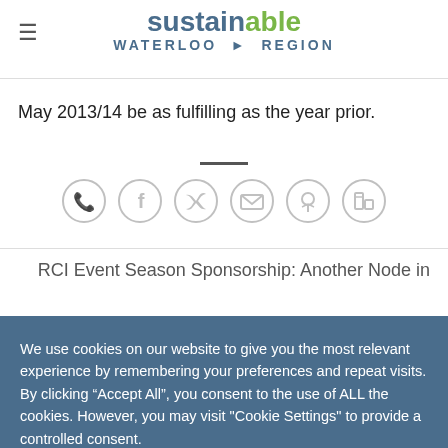sustainable WATERLOO REGION
with the 20... close, and my first year at SWR following in tow, here's to the year ahead.
May 2013/14 be as fulfilling as the year prior.
[Figure (infographic): Row of 6 social sharing icons: WhatsApp, Facebook, Twitter, Email, Pinterest, LinkedIn — all outlined circle style in light grey]
RCI Event Season Sponsorship: Another Node in
We use cookies on our website to give you the most relevant experience by remembering your preferences and repeat visits. By clicking "Accept All", you consent to the use of ALL the cookies. However, you may visit "Cookie Settings" to provide a controlled consent.
Cookie Settings    Accept All